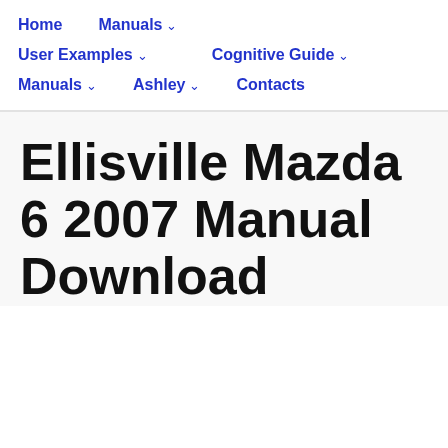Home   Manuals ▾   User Examples ▾   Cognitive Guide ▾   Manuals ▾   Ashley ▾   Contacts
Ellisville Mazda 6 2007 Manual Download